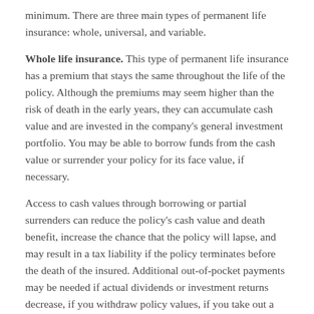…minimum. There are three main types of permanent life insurance: whole, universal, and variable.
Whole life insurance. This type of permanent life insurance has a premium that stays the same throughout the life of the policy. Although the premiums may seem higher than the risk of death in the early years, they can accumulate cash value and are invested in the company's general investment portfolio. You may be able to borrow funds from the cash value or surrender your policy for its face value, if necessary.
Access to cash values through borrowing or partial surrenders can reduce the policy's cash value and death benefit, increase the chance that the policy will lapse, and may result in a tax liability if the policy terminates before the death of the insured. Additional out-of-pocket payments may be needed if actual dividends or investment returns decrease, if you withdraw policy values, if you take out a loan, or if current charges increase.
Universal life insurance. Universal life coverage goes one step further. You have the same type of coverage and cash